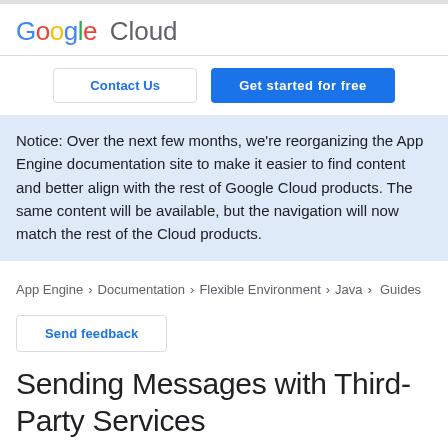[Figure (logo): Google Cloud logo with colored Google letters and gray Cloud text]
Contact Us
Get started for free
Notice: Over the next few months, we're reorganizing the App Engine documentation site to make it easier to find content and better align with the rest of Google Cloud products. The same content will be available, but the navigation will now match the rest of the Cloud products.
App Engine > Documentation > Flexible Environment > Java > Guides
Send feedback
Sending Messages with Third-Party Services